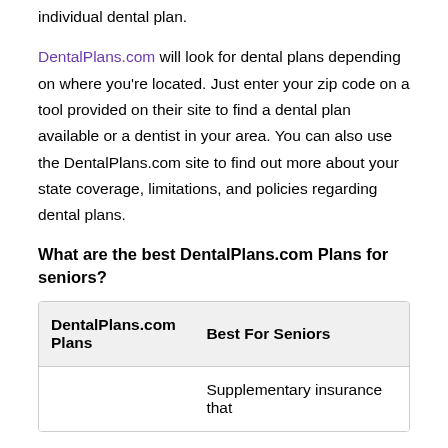individual dental plan.
DentalPlans.com will look for dental plans depending on where you’re located. Just enter your zip code on a tool provided on their site to find a dental plan available or a dentist in your area. You can also use the DentalPlans.com site to find out more about your state coverage, limitations, and policies regarding dental plans.
What are the best DentalPlans.com Plans for seniors?
| DentalPlans.com Plans | Best For Seniors |
| --- | --- |
|  | Supplementary insurance that |